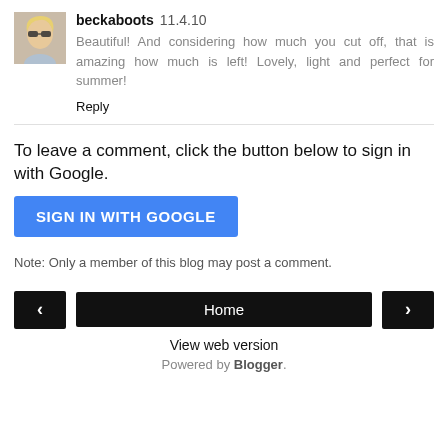[Figure (photo): Avatar photo of a blonde woman with sunglasses]
beckaboots  11.4.10
Beautiful! And considering how much you cut off, that is amazing how much is left! Lovely, light and perfect for summer!
Reply
To leave a comment, click the button below to sign in with Google.
SIGN IN WITH GOOGLE
Note: Only a member of this blog may post a comment.
< Home > View web version Powered by Blogger.